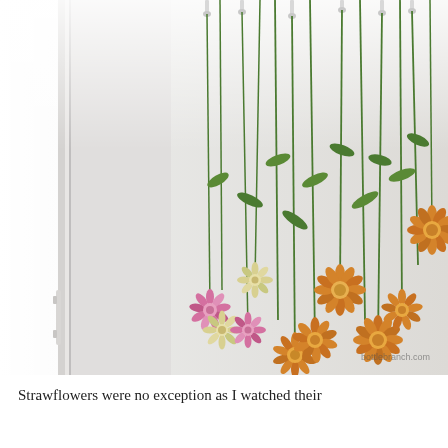[Figure (photo): Strawflowers hanging upside down to dry, suspended from what appears to be a rack or hooks near a window. The flowers include orange, pink, and white/cream strawflowers (Helichrysum) with long green stems. A white door frame or appliance edge is visible on the left. The background is a light grey/white wall. A watermark reads 'bottlebranch.com' in the lower right corner.]
Strawflowers were no exception as I watched their